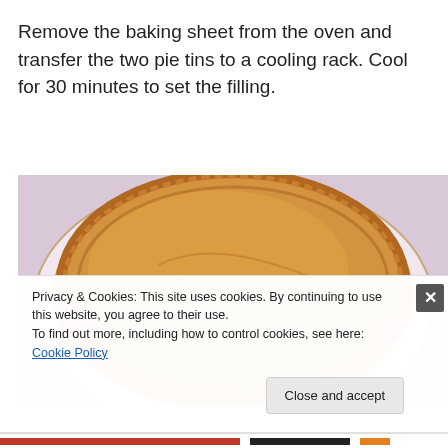Remove the baking sheet from the oven and transfer the two pie tins to a cooling rack. Cool for 30 minutes to set the filling.
[Figure (photo): A golden-brown baked pie with crimped pastry edges on a white floral plate, viewed from above.]
Privacy & Cookies: This site uses cookies. By continuing to use this website, you agree to their use.
To find out more, including how to control cookies, see here: Cookie Policy
Close and accept